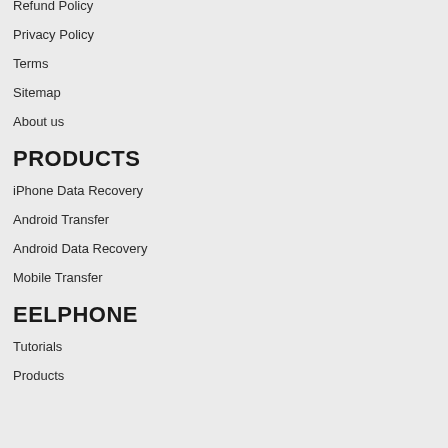Refund Policy
Privacy Policy
Terms
Sitemap
About us
PRODUCTS
iPhone Data Recovery
Android Transfer
Android Data Recovery
Mobile Transfer
EELPHONE
Tutorials
Products